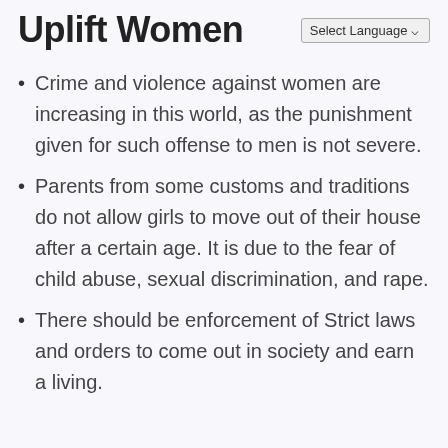Uplift Women
Crime and violence against women are increasing in this world, as the punishment given for such offense to men is not severe.
Parents from some customs and traditions do not allow girls to move out of their house after a certain age. It is due to the fear of child abuse, sexual discrimination, and rape.
There should be enforcement of Strict laws and orders to come out in society and earn a living.